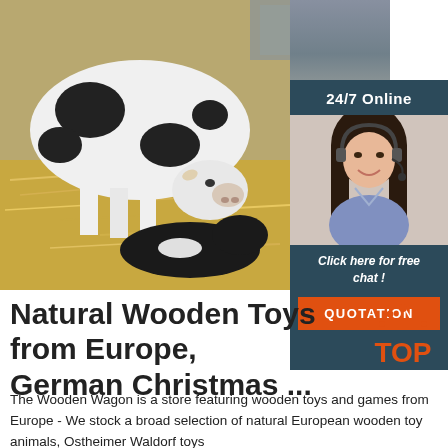[Figure (photo): Photo of cows (a mother cow and a newborn calf) lying on hay in a barn setting]
[Figure (infographic): Ad banner: '24/7 Online' with a woman wearing a headset smiling, text 'Click here for free chat!' and orange button 'QUOTATION']
Natural Wooden Toys from Europe, German Christmas ...
[Figure (logo): TOP logo with orange paw prints and orange text 'TOP']
The Wooden Wagon is a store featuring wooden toys and games from Europe - We stock a broad selection of natural European wooden toy animals, Ostheimer Waldorf toys